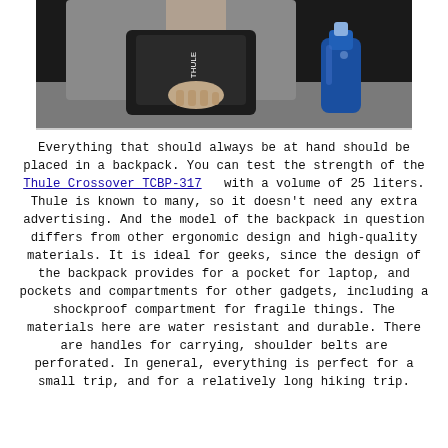[Figure (photo): A person in a grey shirt holding a black Thule backpack on a table, with a blue water bottle on the right side, against a dark background.]
Everything that should always be at hand should be placed in a backpack. You can test the strength of the Thule Crossover TCBP-317 with a volume of 25 liters. Thule is known to many, so it doesn't need any extra advertising. And the model of the backpack in question differs from other ergonomic design and high-quality materials. It is ideal for geeks, since the design of the backpack provides for a pocket for laptop, and pockets and compartments for other gadgets, including a shockproof compartment for fragile things. The materials here are water resistant and durable. There are handles for carrying, shoulder belts are perforated. In general, everything is perfect for a small trip, and for a relatively long hiking trip.